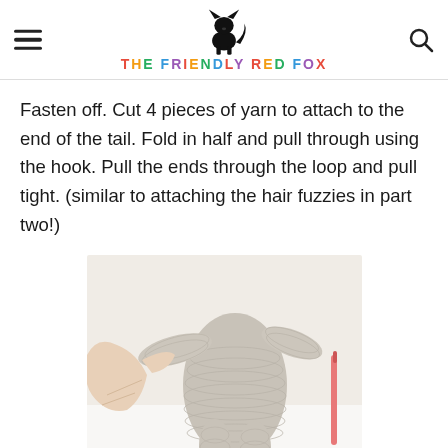THE FRIENDLY RED FOX
Fasten off. Cut 4 pieces of yarn to attach to the end of the tail. Fold in half and pull through using the hook. Pull the ends through the loop and pull tight. (similar to attaching the hair fuzzies in part two!)
[Figure (photo): A hand holding a crocheted doll body (amigurumi) showing attached arms and a tail with yarn tassels. A pink crochet hook is visible on the right side.]